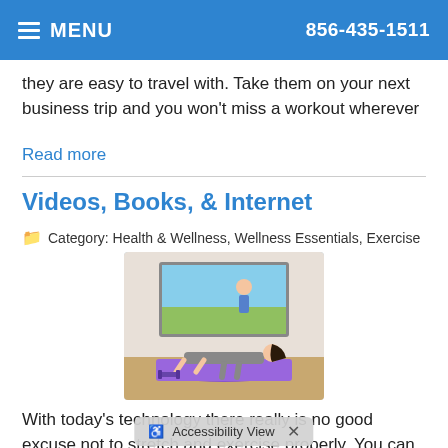MENU  856-435-1511
they are easy to travel with. Take them on your next business trip and you won't miss a workout wherever
Read more
Videos, Books, & Internet
Category: Health & Wellness, Wellness Essentials, Exercise
[Figure (photo): Woman doing a plank exercise on a purple yoga mat in front of a TV screen showing a fitness instructor near a beach.]
With today's technology there really is no good excuse not to stretch and exercise properly. You can check out exercise videos at your local library,
Accessibility View ×